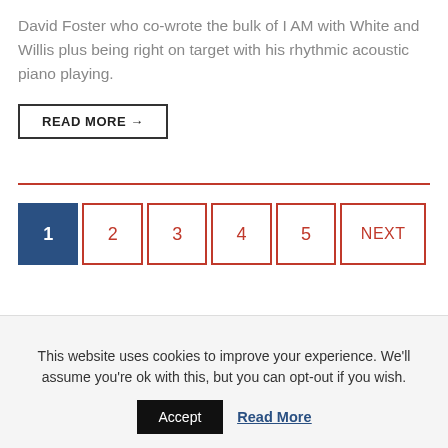David Foster who co-wrote the bulk of I AM with White and Willis plus being right on target with his rhythmic acoustic piano playing.
READ MORE →
1  2  3  4  5  NEXT
This website uses cookies to improve your experience. We'll assume you're ok with this, but you can opt-out if you wish.
Accept
Read More